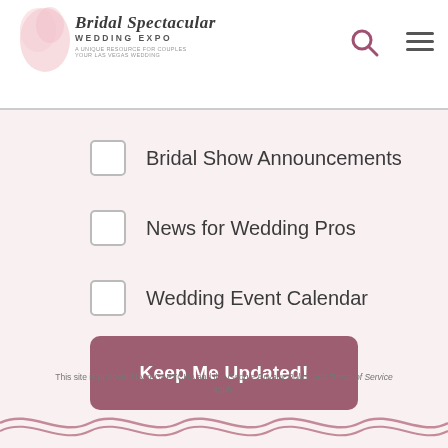Bridal Spectacular Wedding Expo – A unique resource for couples planning Las Vegas weddings
Bridal Show Announcements
News for Wedding Pros
Wedding Event Calendar
Keep Me Updated!
This site is protected by reCAPTCHA and the Google Privacy Policy and Terms of Service apply.